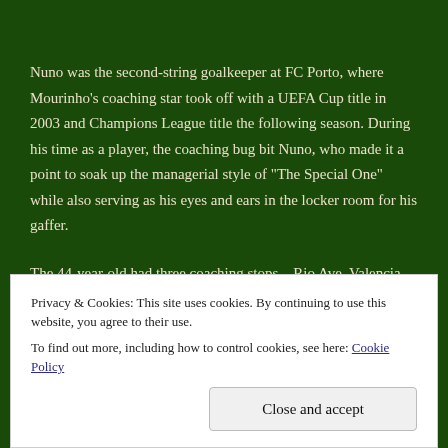Nuno was the second-string goalkeeper at FC Porto, where Mourinho's coaching star took off with a UEFA Cup title in 2003 and Champions League title the following season. During his time as a player, the coaching bug bit Nuno, who made it a point to soak up the managerial style of "The Special One" while also serving as his eyes and ears in the locker room for his gaffer.
The 44-year-old had three coaching stops – Rio Ave, Valencia and his old club Porto. While he enjoyed success with both Rio Ave and Valencia, his one season at Porto was devoid of
Privacy & Cookies: This site uses cookies. By continuing to use this website, you agree to their use.
To find out more, including how to control cookies, see here: Cookie Policy
Close and accept